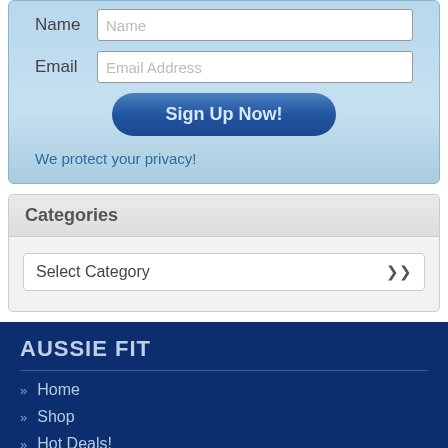[Figure (screenshot): Web form with Name and Email input fields and a Sign Up Now button]
We protect your privacy!
Categories
[Figure (screenshot): Select Category dropdown widget]
AUSSIE FIT
Home
Shop
Hot Deals!
Support
Testimonials